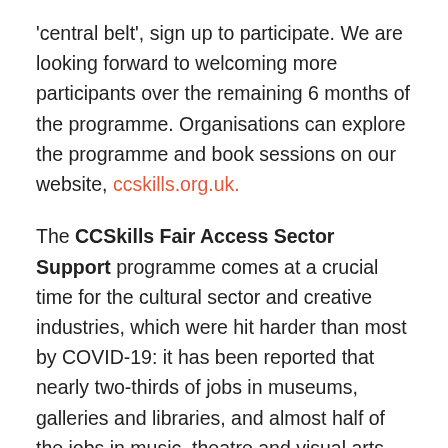'central belt', sign up to participate. We are looking forward to welcoming more participants over the remaining 6 months of the programme. Organisations can explore the programme and book sessions on our website, ccskills.org.uk.
The CCSkills Fair Access Sector Support programme comes at a crucial time for the cultural sector and creative industries, which were hit harder than most by COVID-19: it has been reported that nearly two-thirds of jobs in museums, galleries and libraries, and almost half of the jobs in music, theatre and visual arts, were considered vulnerable at the height of the pandemic; and many in the sector continue to feel the pandemic's aftershocks and are working out how to operate and respond in